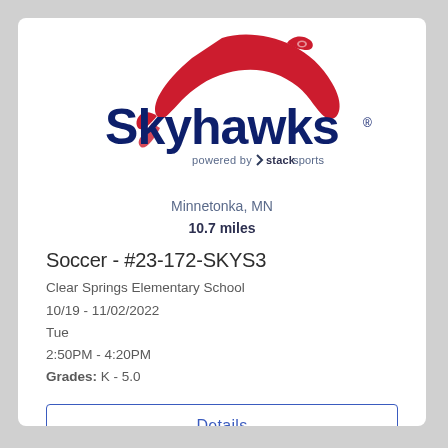[Figure (logo): Skyhawks powered by Stack Sports logo — large red hawk swoosh above dark navy 'Skyhawks' wordmark with registered trademark, and 'powered by stack sports' tagline below]
Minnetonka, MN
10.7 miles
Soccer - #23-172-SKYS3
Clear Springs Elementary School
10/19 - 11/02/2022
Tue
2:50PM - 4:20PM
Grades: K - 5.0
Details